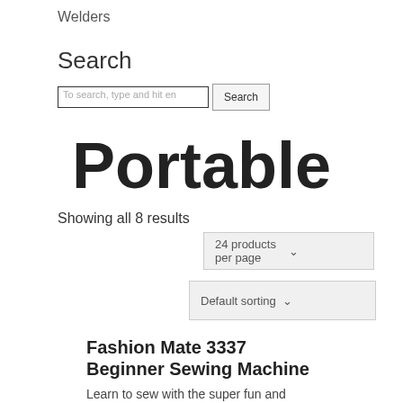Welders
Search
To search, type and hit en
Portable
Showing all 8 results
24 products per page
Default sorting
Fashion Mate 3337 Beginner Sewing Machine
Learn to sew with the super fun and